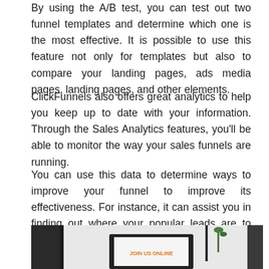By using the A/B test, you can test out two funnel templates and determine which one is the most effective. It is possible to use this feature not only for templates but also to compare your landing pages, ads media pages, landing pages, and other elements.
ClickFunnels also offers great analytics to help you keep up to date with your information. Through the Sales Analytics features, you'll be able to monitor the way your sales funnels are running.
You can use this data to determine ways to improve your funnel to improve its effectiveness. For instance, it can assist you in finding out where your popular leads are to help you focus on turning them into customers.
[Figure (photo): A photo of a desk setup with a monitor and a tablet displaying 'JOIN US ONLINE' text in orange, with a plant visible in the background.]